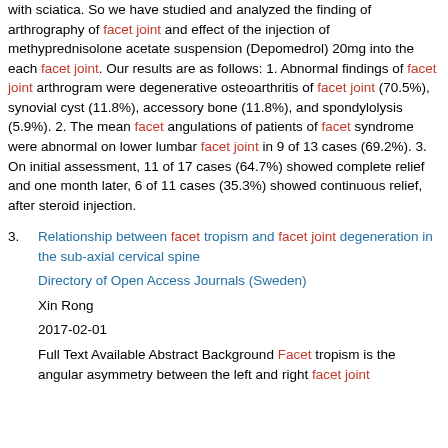with sciatica. So we have studied and analyzed the finding of arthrography of facet joint and effect of the injection of methyprednisolone acetate suspension (Depomedrol) 20mg into the each facet joint. Our results are as follows: 1. Abnormal findings of facet joint arthrogram were degenerative osteoarthritis of facet joint (70.5%), synovial cyst (11.8%), accessory bone (11.8%), and spondylolysis (5.9%). 2. The mean facet angulations of patients of facet syndrome were abnormal on lower lumbar facet joint in 9 of 13 cases (69.2%). 3. On initial assessment, 11 of 17 cases (64.7%) showed complete relief and one month later, 6 of 11 cases (35.3%) showed continuous relief, after steroid injection.
3. Relationship between facet tropism and facet joint degeneration in the sub-axial cervical spine
Directory of Open Access Journals (Sweden)
Xin Rong
2017-02-01
Full Text Available Abstract Background Facet tropism is the angular asymmetry between the left and right facet joint